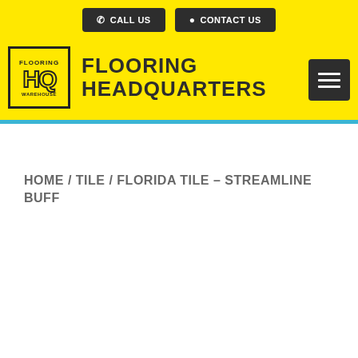[Figure (logo): Flooring HQ Warehouse logo with yellow background and dark border, showing FLOORING text above HQ letters and WAREHOUSE below]
FLOORING HEADQUARTERS
HOME / TILE / FLORIDA TILE – STREAMLINE BUFF